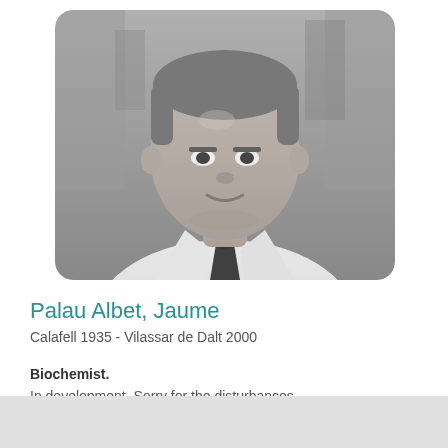[Figure (photo): Black and white portrait photo of a middle-aged man in a white shirt and dark tie, cropped to show head, neck and upper chest, with blurred bookshelf background. Photo has rounded corners.]
Palau Albet, Jaume
Calafell 1935 - Vilassar de Dalt 2000
Biochemist.
In development. Sorry for the disturbances.